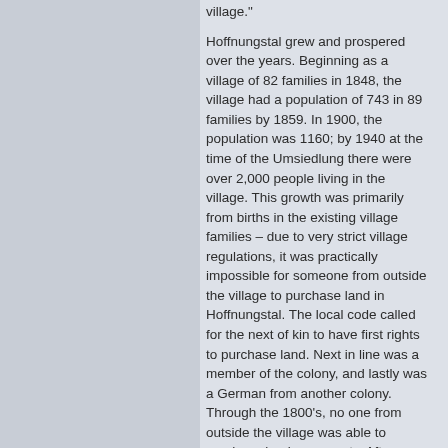village."

Hoffnungstal grew and prospered over the years. Beginning as a village of 82 families in 1848, the village had a population of 743 in 89 families by 1859. In 1900, the population was 1160; by 1940 at the time of the Umsiedlung there were over 2,000 people living in the village. This growth was primarily from births in the existing village families – due to very strict village regulations, it was practically impossible for someone from outside the village to purchase land in Hoffnungstal. The local code called for the next of kin to have first rights to purchase land. Next in line was a member of the colony, and lastly was a German from another colony. Through the 1800's, no one from outside the village was able to purchase land or property. After 1900, a few families from other German villages were able to "acquire"